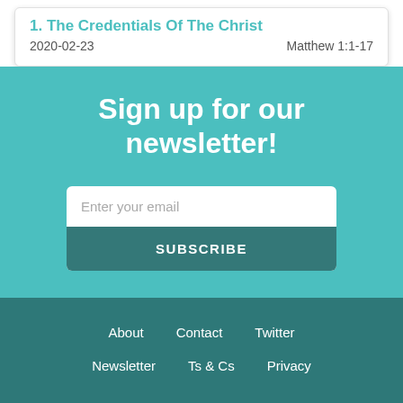1. The Credentials Of The Christ
2020-02-23    Matthew 1:1-17
Sign up for our newsletter!
Enter your email
SUBSCRIBE
About  Contact  Twitter  Newsletter  Ts & Cs  Privacy